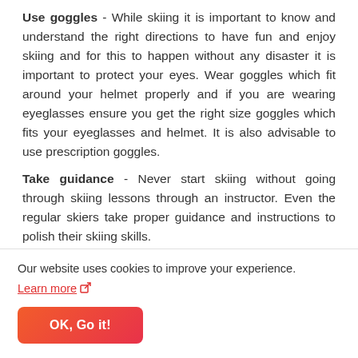Use goggles - While skiing it is important to know and understand the right directions to have fun and enjoy skiing and for this to happen without any disaster it is important to protect your eyes. Wear goggles which fit around your helmet properly and if you are wearing eyeglasses ensure you get the right size goggles which fits your eyeglasses and helmet. It is also advisable to use prescription goggles.
Take guidance - Never start skiing without going through skiing lessons through an instructor. Even the regular skiers take proper guidance and instructions to polish their skiing skills.
Our website uses cookies to improve your experience.
Learn more
OK, Go it!